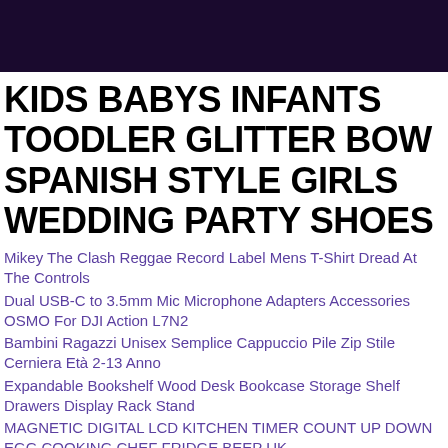KIDS BABYS INFANTS TOODLER GLITTER BOW SPANISH STYLE GIRLS WEDDING PARTY SHOES
Mikey The Clash Reggae Record Label Mens T-Shirt Dread At The Controls
Dual USB-C to 3.5mm Mic Microphone Adapters Accessories OSMO For DJI Action L7N2
Bambini Ragazzi Unisex Semplice Cappuccio Pile Zip Stile Cerniera Età 2-13 Anno
Expandable Bookshelf Wood Desk Bookcase Storage Shelf Drawers Display Rack Stand
MAGNETIC DIGITAL LCD KITCHEN TIMER COUNT UP DOWN EGG COOKING CHEF FRIDGE BEEP UK
1st Generation Bonus-Built FORD F-SERIES PICKUP 1948-52 A3 size Art Print